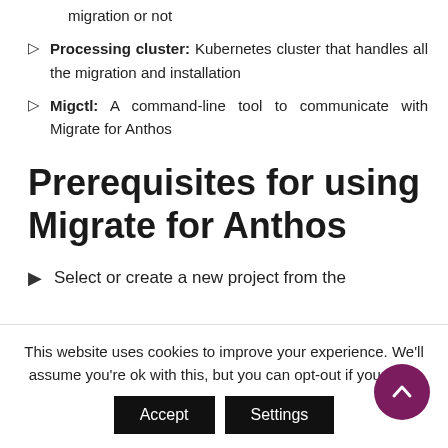migration or not
Processing cluster: Kubernetes cluster that handles all the migration and installation
Migctl: A command-line tool to communicate with Migrate for Anthos
Prerequisites for using Migrate for Anthos
Select or create a new project from the
This website uses cookies to improve your experience. We'll assume you're ok with this, but you can opt-out if you wish.
Accept  Settings